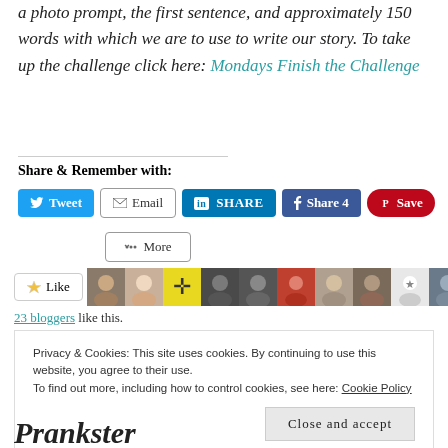a photo prompt, the first sentence, and approximately 150 words with which we are to use to write our story. To take up the challenge click here: Mondays Finish the Challenge
Share & Remember with:
[Figure (screenshot): Social sharing buttons: Tweet, Email, SHARE (LinkedIn), Share 4 (Facebook), Save (Pinterest), More]
[Figure (screenshot): Like button and row of blogger avatars]
23 bloggers like this.
Privacy & Cookies: This site uses cookies. By continuing to use this website, you agree to their use. To find out more, including how to control cookies, see here: Cookie Policy
Prankster